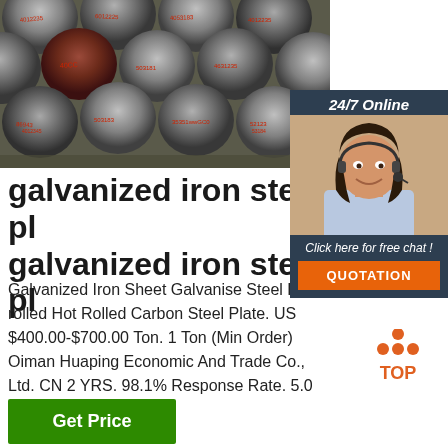[Figure (photo): Photo of galvanized iron steel rods/bars stacked together, with red Chinese characters stamped on the ends. Industrial steel products.]
galvanized iron steel pl
galvanized iron steel pl
Galvanized Iron Sheet Galvanise Steel Plate. Cold rolled Hot Rolled Carbon Steel Plate. US $400.00-$700.00 Ton. 1 Ton (Min Order) Oiman Huaping Economic And Trade Co., Ltd. CN 2 YRS. 98.1% Response Rate. 5.0 ( 3) 'Good service'.
[Figure (other): 24/7 Online chat widget with customer service representative photo and QUOTATION button]
[Figure (logo): TOP badge/logo with orange dots arranged in pyramid shape above the word TOP in orange]
Get Price